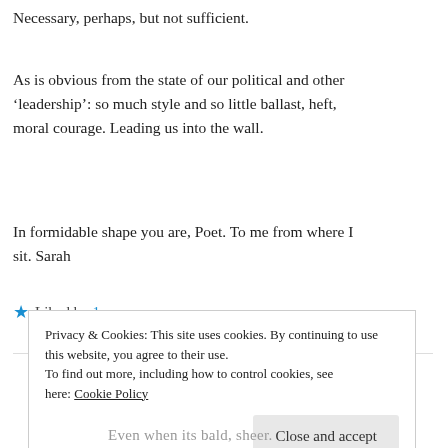Necessary, perhaps, but not sufficient.
As is obvious from the state of our political and other ‘leadership’: so much style and so little ballast, heft, moral courage. Leading us into the wall.
In formidable shape you are, Poet. To me from where I sit. Sarah
★ Liked by 1 person
Watt
Privacy & Cookies: This site uses cookies. By continuing to use this website, you agree to their use.
To find out more, including how to control cookies, see here: Cookie Policy
Close and accept
Even when its bald, sheer.